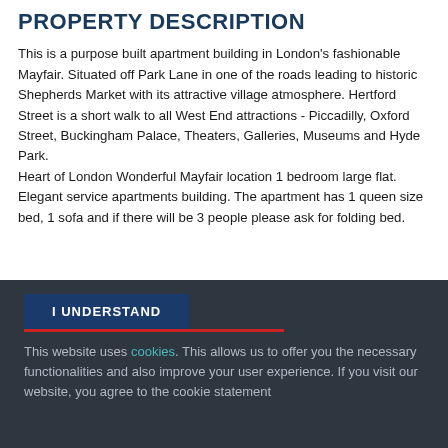PROPERTY DESCRIPTION
This is a purpose built apartment building in London's fashionable Mayfair. Situated off Park Lane in one of the roads leading to historic Shepherds Market with its attractive village atmosphere. Hertford Street is a short walk to all West End attractions - Piccadilly, Oxford Street, Buckingham Palace, Theaters, Galleries, Museums and Hyde Park. Heart of London Wonderful Mayfair location 1 bedroom large flat. Elegant service apartments building. The apartment has 1 queen size bed, 1 sofa and if there will be 3 people please ask for folding bed.
I UNDERSTAND
This website uses cookies. This allows us to offer you the necessary functionalities and also improve your user experience. If you visit our website, you agree to the cookie statement